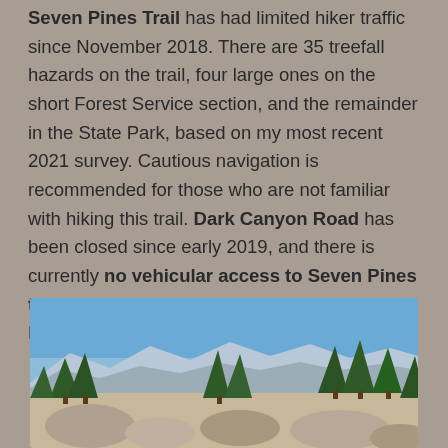Seven Pines Trail has had limited hiker traffic since November 2018. There are 35 treefall hazards on the trail, four large ones on the short Forest Service section, and the remainder in the State Park, based on my most recent 2021 survey. Cautious navigation is recommended for those who are not familiar with hiking this trail. Dark Canyon Road has been closed since early 2019, and there is currently no vehicular access to Seven Pines trailhead. USFS apparently does not expect Dark Canyon Road to reopen this year.
[Figure (photo): Outdoor photograph showing pine trees and rocky terrain in the foreground with mountains and a clear blue sky in the background, consistent with a Southern California high-altitude trail scene.]